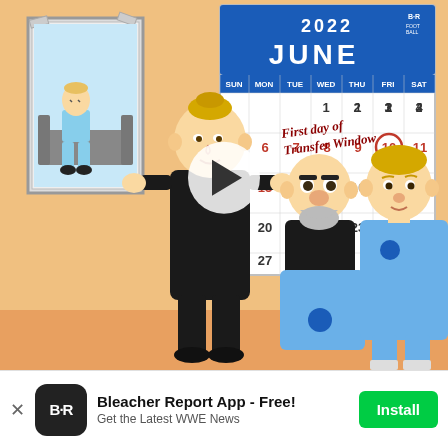[Figure (illustration): Animated cartoon illustration showing a football/soccer themed scene. A tall blonde character in black stands in the center with a play button overlay. Behind them is a calendar showing June 2022 with the 10th circled in red and 'First day of Transfer Window' written in red cursive. A bald bearded character holds a Manchester City jersey. Another character in a City kit stands to the right. A framed picture of a cartoon player on a sofa is on the left wall. B/R Football logo appears in the calendar header.]
× Bleacher Report App - Free! Get the Latest WWE News Install